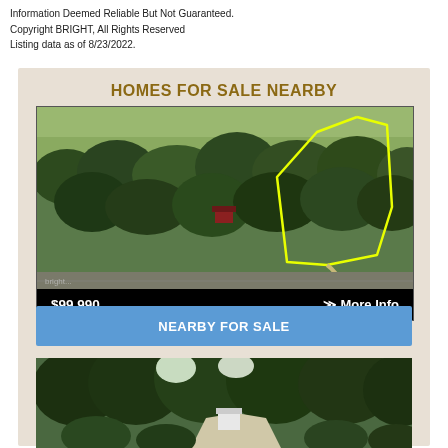Information Deemed Reliable But Not Guaranteed.
Copyright BRIGHT, All Rights Reserved
Listing data as of 8/23/2022.
HOMES FOR SALE NEARBY
[Figure (photo): Aerial view of a wooded property with a yellow boundary outline, a small structure visible, and a road at the bottom]
$99,990   >> More Info
NEARBY FOR SALE
[Figure (photo): Partial view of a tree-lined driveway with a white structure visible through the trees]